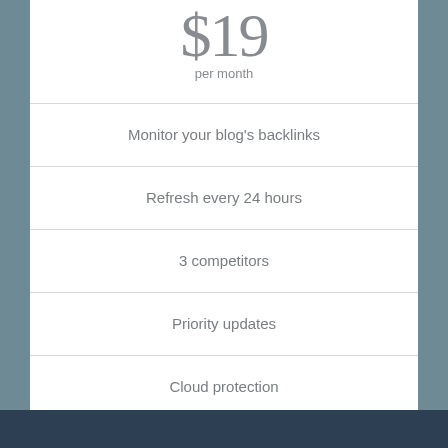$19
per month
Monitor your blog's backlinks
Refresh every 24 hours
3 competitors
Priority updates
Cloud protection
Discount for your other websites